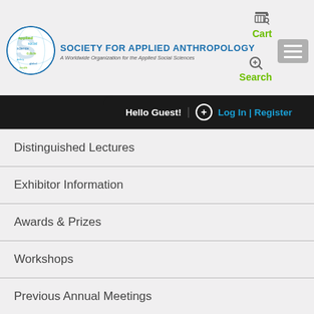[Figure (logo): Society for Applied Anthropology circular logo with words 'applied', 'social', 'science' arranged in a globe/word-cloud pattern]
SOCIETY FOR APPLIED ANTHROPOLOGY
A Worldwide Organization for the Applied Social Sciences
Cart
Search
Hello Guest! + Log In | Register
Distinguished Lectures
Exhibitor Information
Awards & Prizes
Workshops
Previous Annual Meetings
Future Annual Meeting Sites
Podcast Project
Meeting Agenda